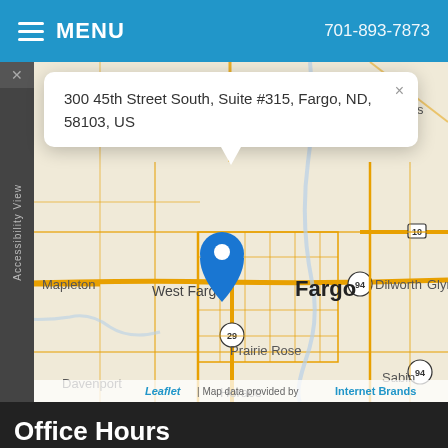MENU  701-893-7873
[Figure (map): Street map of Fargo, ND area showing West Fargo, Fargo, Dilworth, Prairie Rose, Horace, Davenport, Mapleton, Harwood, Kragnes, Sabin, Glyndon area. A blue location pin is placed over West Fargo/Fargo. A popup tooltip shows the address: 300 45th Street South, Suite #315, Fargo, ND, 58103, US. Map attribution: Leaflet | Map data provided by Internet Brands.]
300 45th Street South, Suite #315, Fargo, ND, 58103, US
Office Hours